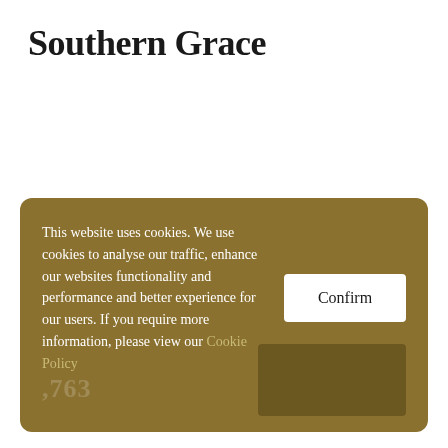Southern Grace
This website uses cookies. We use cookies to analyse our traffic, enhance our websites functionality and performance and better experience for our users. If you require more information, please view our Cookie Policy
Confirm